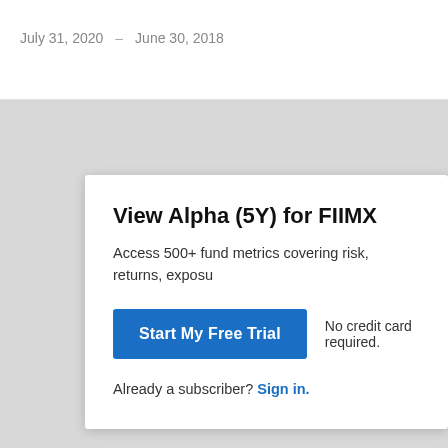July 31, 2020 — June 30, 2018
View Alpha (5Y) for FIIMX
Access 500+ fund metrics covering risk, returns, exposu
Start My Free Trial   No credit card required.
Already a subscriber? Sign in.